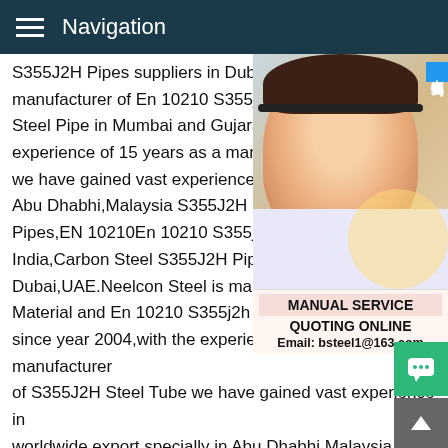Navigation
S355J2H Pipes suppliers in Dubai,UAE.Neelcon Steel is manufacturer of En 10210 S355j2h Material and En 10210 S355j2h Steel Pipe in Mumbai and Gujarat since year 2004,with the experience of 15 years as a manufacturer we have gained vast experience in worldwide export specially in Abu Dhabhi,Malaysia S355J2H EN 10210 Carbon Steel Seamless Pipes,EN 10210En 10210 S355j2h Material and S355J2H En 10210 Steel Pipe India,Carbon Steel S355J2H Pipes suppliers in Dubai,UAE.Neelcon Steel is manufacturer of S355J2H Material and En 10210 S355j2h Steel Pipe in Mumbai since year 2004,with the experience of 15 years as a manufacturer of S355J2H Steel Tube we have gained vast experience in worldwide export specially in Abu Dhabhi,Malaysia S355J2H EN 10210 Carbon Steel Seamless Pipes and Tubes S355J2H EN 10210 Carbon Steel Pipes Manufacturer.Marc Steel is a renowned manufacturer of Carbon Steel S355J2H EN 10210 Pipes whic
[Figure (photo): Customer service representative smiling, wearing headset. Has 在线咨询 (Online Consultation) badge and MANUAL SERVICE / QUOTING ONLINE / Email: bsteel1@163.com text overlay.]